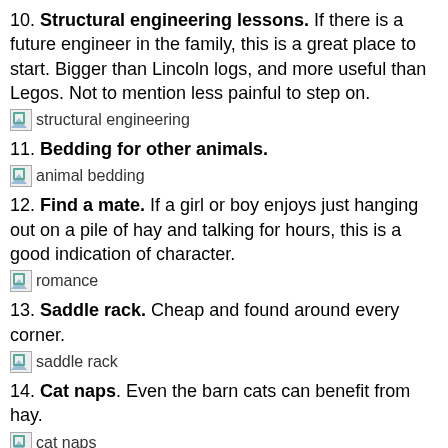10. Structural engineering lessons. If there is a future engineer in the family, this is a great place to start. Bigger than Lincoln logs, and more useful than Legos. Not to mention less painful to step on.
[Figure (photo): Broken image placeholder labeled 'structural engineering']
11. Bedding for other animals.
[Figure (photo): Broken image placeholder labeled 'animal bedding']
12. Find a mate. If a girl or boy enjoys just hanging out on a pile of hay and talking for hours, this is a good indication of character.
[Figure (photo): Broken image placeholder labeled 'romance']
13. Saddle rack. Cheap and found around every corner.
[Figure (photo): Broken image placeholder labeled 'saddle rack']
14. Cat naps. Even the barn cats can benefit from hay.
[Figure (photo): Broken image placeholder labeled 'cat naps']